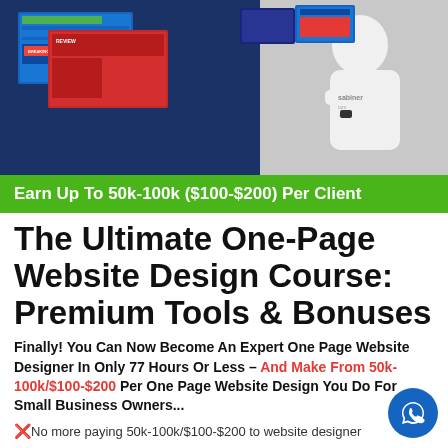[Figure (photo): Screenshot of website design course promotional banner showing website mockups on screens and a man in a white hoodie with sabinertsors.com text, overlaid with a blue and red background]
Earn Up To 50k-100k ($100-$200) Per Client
The Ultimate One-Page Website Design Course: Premium Tools & Bonuses
Finally! You Can Now Become An Expert One Page Website Designer In Only 77 Hours Or Less – And Make From 50k-100k/$100-$200 Per One Page Website Design You Do For Small Business Owners...
❌No more paying 50k-100k/$100-$200 to website designers